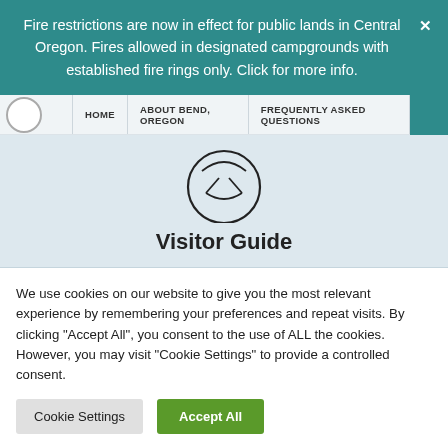Fire restrictions are now in effect for public lands in Central Oregon. Fires allowed in designated campgrounds with established fire rings only. Click for more info.
HOME   ABOUT BEND, OREGON   FREQUENTLY ASKED QUESTIONS
[Figure (illustration): Circular icon resembling a compass or directional symbol, outline style, black on light blue background]
Visitor Guide
We use cookies on our website to give you the most relevant experience by remembering your preferences and repeat visits. By clicking "Accept All", you consent to the use of ALL the cookies. However, you may visit "Cookie Settings" to provide a controlled consent.